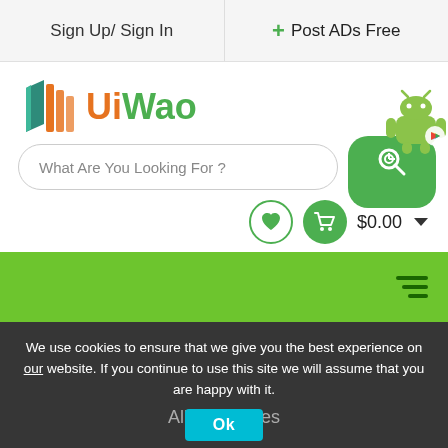Sign Up/ Sign In   + Post ADs Free
[Figure (logo): UiWao logo with stylized W icon in teal/orange and text 'UiWao' in orange and green]
What Are You Looking For ?
$0.00
[Figure (screenshot): Green navigation bar with hamburger menu icon]
We use cookies to ensure that we give you the best experience on our website. If you continue to use this site we will assume that you are happy with it.
Ok
All Categories
Home / Blog Detail